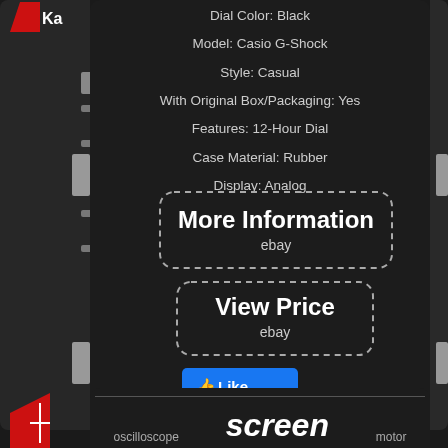Dial Color: Black
Model: Casio G-Shock
Style: Casual
With Original Box/Packaging: Yes
Features: 12-Hour Dial
Case Material: Rubber
Display: Analog
[Figure (infographic): Dashed border button labeled 'More Information' with 'ebay' subtitle]
[Figure (infographic): Dashed border button labeled 'View Price' with 'ebay' subtitle]
[Figure (infographic): Facebook Like button (blue)]
[Figure (infographic): Social sharing icons row: Facebook, Twitter, Pinterest, Email]
[Figure (infographic): Bottom card with text: oscilloscope, screen (large italic), motor]